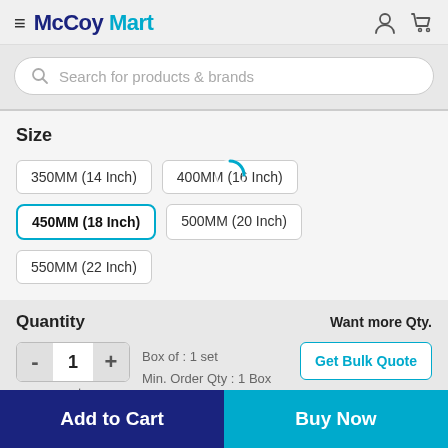McCoy Mart
Search for products & brands
Size
350MM (14 Inch)
400MM (16 Inch)
450MM (18 Inch)
500MM (20 Inch)
550MM (22 Inch)
Quantity
Want more Qty.
Box of : 1 set
Min. Order Qty : 1 Box
set
Get Bulk Quote
Available Offers
Add to Cart
Buy Now